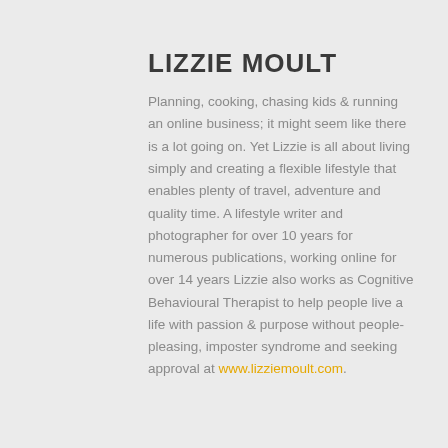LIZZIE MOULT
Planning, cooking, chasing kids & running an online business; it might seem like there is a lot going on. Yet Lizzie is all about living simply and creating a flexible lifestyle that enables plenty of travel, adventure and quality time. A lifestyle writer and photographer for over 10 years for numerous publications, working online for over 14 years Lizzie also works as Cognitive Behavioural Therapist to help people live a life with passion & purpose without people-pleasing, imposter syndrome and seeking approval at www.lizziemoult.com.